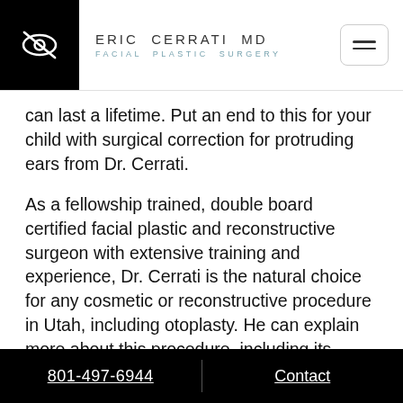ERIC CERRATI MD FACIAL PLASTIC SURGERY
can last a lifetime. Put an end to this for your child with surgical correction for protruding ears from Dr. Cerrati.
As a fellowship trained, double board certified facial plastic and reconstructive surgeon with extensive training and experience, Dr. Cerrati is the natural choice for any cosmetic or reconstructive procedure in Utah, including otoplasty. He can explain more about this procedure, including its benefits and any possible risks, in a face-to-face consultation at his office. Contact the helpful office staff at our Park City location to arrange for your
801-497-6944   Contact